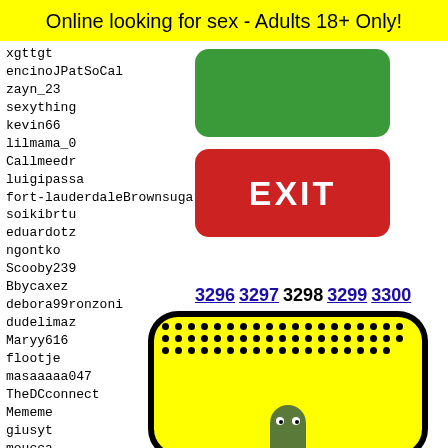Online looking for sex - Adults 18+ Only!
xgttgt
encinoJPatSoCal
zayn_23
sexything
kevin66
lilmama_0
Callmeedr
luigipassа
fort-lauderdaleBrownsugardale
soikibrtu
eduardotz
ngontko
Scooby239
Bbycaxez
debora99ronzoni
dudelimaz
Maryy616
flootje
masaaaaa047
TheDCconnect
Mememe
giusyt
moucca
missax
amarra
fabian
[Figure (illustration): Green rounded rectangle button (no label), red rounded rectangle button with EXIT text in white, Snapchat-style ghost icon on yellow background with black dot grid pattern]
3296 3297 3298 3299 3300